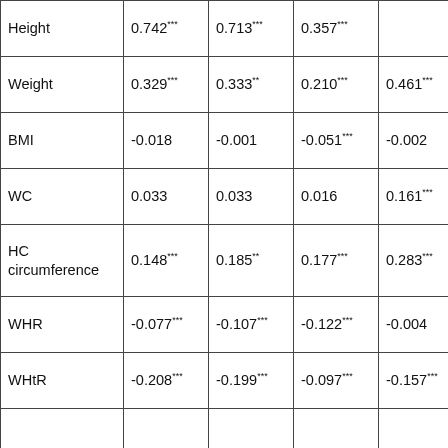|  | Col1 | Col2 | Col3 | Col4 | Col5 |
| --- | --- | --- | --- | --- | --- |
| Height | 0.742*** | 0.713*** | 0.357*** |  | 0.351*** |
| Weight | 0.329*** | 0.333** | 0.210*** | 0.461*** |  |
| BMI | -0.018 | -0.001 | -0.051*** | -0.002 | 0.845*** |
| WC | 0.033 | 0.033 | 0.016 | 0.161*** | 0.841*** |
| HC circumference | 0.148*** | 0.185** | 0.177*** | 0.283*** | 0.797*** |
| WHR | -0.077*** | -0.107*** | -0.122*** | -0.004 | 0.565*** |
| WHtR | -0.208*** | -0.199*** | -0.097*** | -0.157*** | 0.676*** |